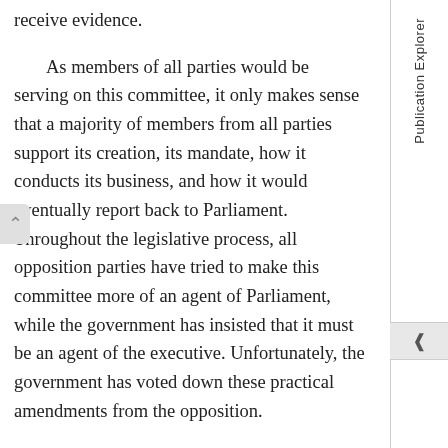receive evidence.
As members of all parties would be serving on this committee, it only makes sense that a majority of members from all parties support its creation, its mandate, how it conducts its business, and how it would eventually report back to Parliament. Throughout the legislative process, all opposition parties have tried to make this committee more of an agent of Parliament, while the government has insisted that it must be an agent of the executive. Unfortunately, the government has voted down these practical amendments from the opposition.
In conclusion, I am disappointed by this legislation. I cannot shake the impression that this entire piece of legislation is simply a facade for the Prime Minister to say